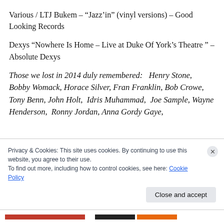Various / LTJ Bukem – “Jazz’in” (vinyl versions) – Good Looking Records
Dexys “Nowhere Is Home – Live at Duke Of York’s Theatre ” – Absolute Dexys
Those we lost in 2014 duly remembered:   Henry Stone, Bobby Womack, Horace Silver, Fran Franklin, Bob Crowe, Tony Benn, John Holt,  Idris Muhammad,  Joe Sample, Wayne Henderson,  Ronny Jordan, Anna Gordy Gaye,
Privacy & Cookies: This site uses cookies. By continuing to use this website, you agree to their use.
To find out more, including how to control cookies, see here: Cookie Policy